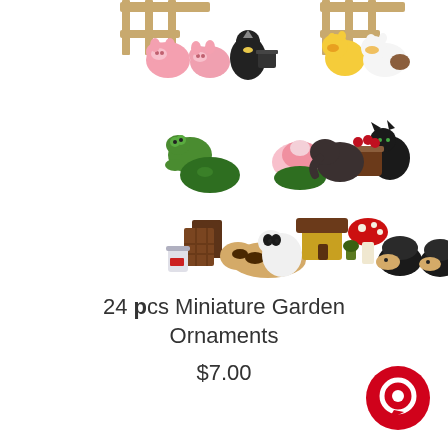[Figure (photo): Product image showing 24 miniature garden ornament figurines arranged in three rows: top row shows pigs/farm animals and ducks near fencing, middle row shows frogs, lily pads, lotus flowers, cat/bear figurines and a basket, bottom row shows chocolate bars, a bucket, sleeping dogs, hedgehogs, mushrooms, panda and a log house.]
24 pcs Miniature Garden Ornaments
$7.00